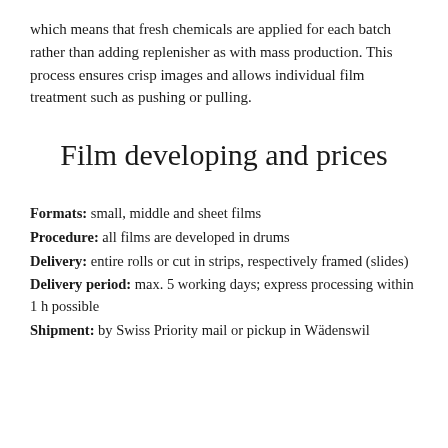which means that fresh chemicals are applied for each batch rather than adding replenisher as with mass production. This process ensures crisp images and allows individual film treatment such as pushing or pulling.
Film developing and prices
Formats: small, middle and sheet films
Procedure: all films are developed in drums
Delivery: entire rolls or cut in strips, respectively framed (slides)
Delivery period: max. 5 working days; express processing within 1 h possible
Shipment: by Swiss Priority mail or pickup in Wädenswil